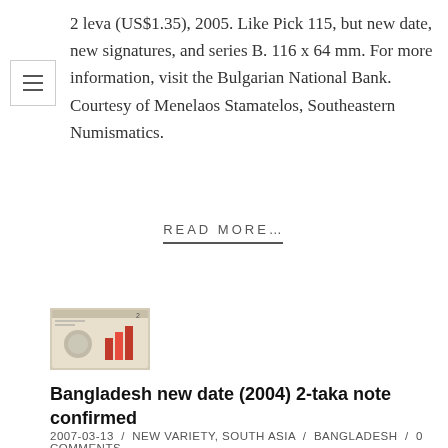2 leva (US$1.35), 2005. Like Pick 115, but new date, new signatures, and series B. 116 x 64 mm. For more information, visit the Bulgarian National Bank. Courtesy of Menelaos Stamatelos, Southeastern Numismatics.
READ MORE…
[Figure (photo): Thumbnail image of a Bangladesh 2-taka banknote, showing a circular design element and red graphic elements on the face of the note.]
Bangladesh new date (2004) 2-taka note confirmed
2007-03-13  /  NEW VARIETY, SOUTH ASIA  /  BANGLADESH  /  0 COMMENTS
2 taka (US$0.05), 2004. Like Pick 6C, but new...